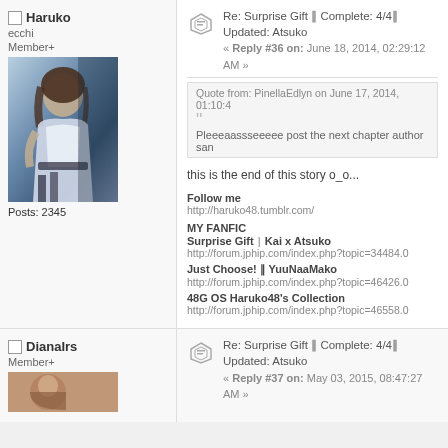Haruko
ecchi
Member+
[Figure (photo): Avatar photo of a woman in white outfit against dark background]
Posts: 2345
Re: Surprise Gift || Complete: 4/4|| Updated: Atsuko
« Reply #36 on: June 18, 2014, 02:29:12 AM »
Quote from: PinellaEdlyn on June 17, 2014, 01:10:4
Pleeeaassseeeee post the next chapter author san
this is the end of this story o_o...
Follow me
http://haruko48.tumblr.com/
MY FANFIC
Surprise Gift | Kai x Atsuko
http://forum.jphip.com/index.php?topic=34484.0
Just Choose! || YuuNaaMako
http://forum.jphip.com/index.php?topic=46426.0
48G OS Haruko48's Collection
http://forum.jphip.com/index.php?topic=46558.0
DianaIrs
Member+
Re: Surprise Gift || Complete: 4/4|| Updated: Atsuko
« Reply #37 on: May 03, 2015, 08:47:27 AM »